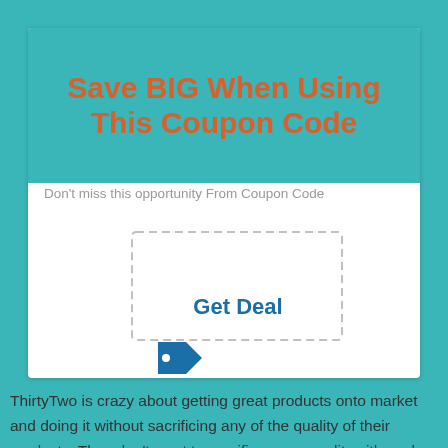Save BIG When Using This Coupon Code
Don't miss this opportunity From Coupon Code
[Figure (other): Dashed rectangle coupon box with 'Get Deal' text in blue and a blue price tag icon below]
ThirtyTwo is crazy about getting great products onto market and doing it without sacrificing any of the quality of their products. They don't want to sacrifice any morality either when it comes to doing business. They will be offering you excellent products for a long time. In fact, people can't seem